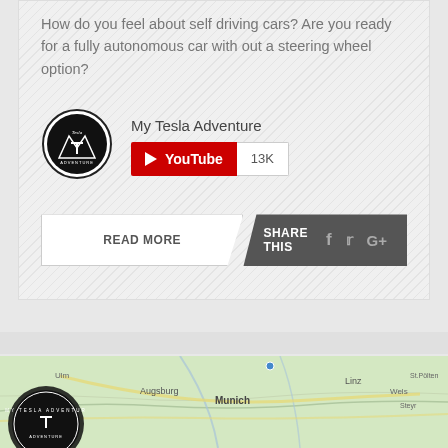How do you feel about self driving cars? Are you ready for a fully autonomous car with out a steering wheel option?
My Tesla Adventure
[Figure (logo): My Tesla Adventure circular logo in black and white]
[Figure (other): YouTube subscribe button showing 13K subscribers]
READ MORE
SHARE THIS
[Figure (map): Map screenshot showing Munich, Augsburg, Linz area with My Tesla Adventure logo overlay]